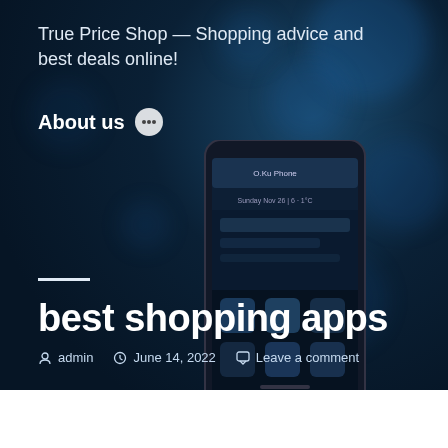True Price Shop — Shopping advice and best deals online!
About us
[Figure (photo): Smartphone displaying a lock screen with date Sunday Nov 26 and temperature, set against a dark bokeh background]
best shopping apps
admin   June 14, 2022   Leave a comment